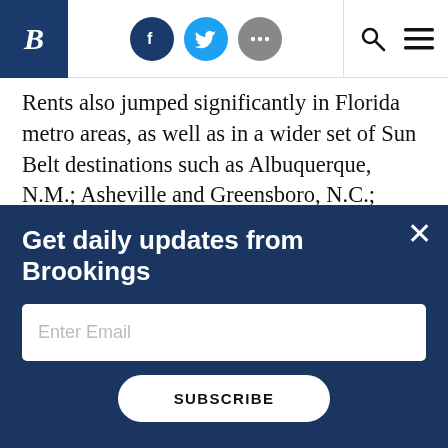Brookings Institution website header with logo, social icons (Facebook, Twitter, more), search and menu icons
Rents also jumped significantly in Florida metro areas, as well as in a wider set of Sun Belt destinations such as Albuquerque, N.M.; Asheville and Greensboro, N.C.; Killeen-Temple and Waco, Texas; Phoenix and Tucson, Ariz.; and Riverside, Calif. By contrast, rents plateaued or even dropped
Get daily updates from Brookings
Enter Email
SUBSCRIBE